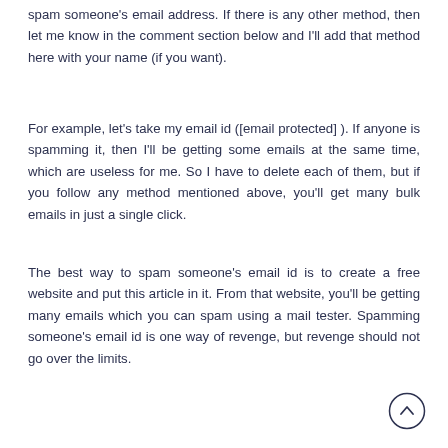spam someone's email address. If there is any other method, then let me know in the comment section below and I'll add that method here with your name (if you want).
For example, let's take my email id ([email protected] ). If anyone is spamming it, then I'll be getting some emails at the same time, which are useless for me. So I have to delete each of them, but if you follow any method mentioned above, you'll get many bulk emails in just a single click.
The best way to spam someone's email id is to create a free website and put this article in it. From that website, you'll be getting many emails which you can spam using a mail tester. Spamming someone's email id is one way of revenge, but revenge should not go over the limits.